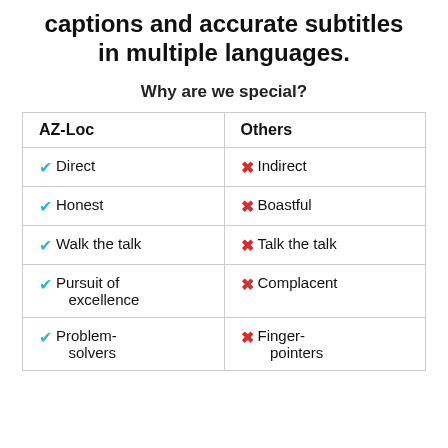captions and accurate subtitles in multiple languages.
Why are we special?
| AZ-Loc | Others |
| --- | --- |
| ✔ Direct | ✖ Indirect |
| ✔ Honest | ✖ Boastful |
| ✔ Walk the talk | ✖ Talk the talk |
| ✔ Pursuit of excellence | ✖ Complacent |
| ✔ Problem-solvers | ✖ Finger-pointers |